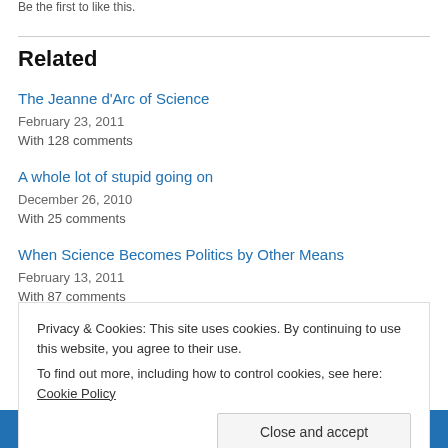Be the first to like this.
Related
The Jeanne d’Arc of Science
February 23, 2011
With 128 comments
A whole lot of stupid going on
December 26, 2010
With 25 comments
When Science Becomes Politics by Other Means
February 13, 2011
With 87 comments
Privacy & Cookies: This site uses cookies. By continuing to use this website, you agree to their use.
To find out more, including how to control cookies, see here: Cookie Policy
Close and accept
Previous | Next